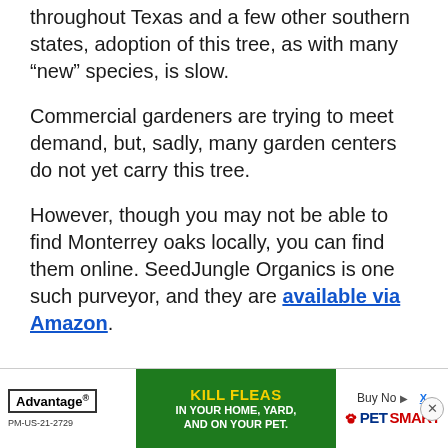throughout Texas and a few other southern states, adoption of this tree, as with many “new” species, is slow.
Commercial gardeners are trying to meet demand, but, sadly, many garden centers do not yet carry this tree.
However, though you may not be able to find Monterrey oaks locally, you can find them online. SeedJungle Organics is one such purveyor, and they are available via Amazon.
[Figure (other): Advertisement banner for Advantage flea treatment product, sold at PetSmart via Amazon. Green banner reads 'KILL FLEAS IN YOUR HOME, YARD, AND ON YOUR PET.' with Advantage logo on left and PetSmart logo on right, Buy Now button.]